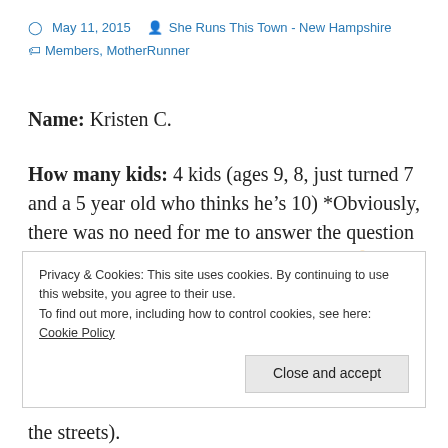May 11, 2015   She Runs This Town - New Hampshire   Members, MotherRunner
Name:  Kristen C.
How many kids:  4 kids (ages 9, 8, just turned 7 and a 5 year old who thinks he’s 10) *Obviously, there was no need for me to answer the question later in this profile “Why do you run?”! 😊
Privacy & Cookies: This site uses cookies. By continuing to use this website, you agree to their use.
To find out more, including how to control cookies, see here: Cookie Policy
Close and accept
the streets).